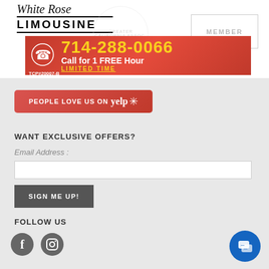[Figure (logo): White Rose Limousine logo with italic script text and bold LIMOUSINE text with double border lines]
[Figure (other): Red banner advertisement showing phone number 714-288-0066, Call for 1 FREE Hour, LIMITED TIME, with phone icon and TCP#20007-B]
[Figure (other): Yelp badge button: PEOPLE LOVE US ON yelp with snowflake icon]
WANT EXCLUSIVE OFFERS?
Email Address :
SIGN ME UP!
FOLLOW US